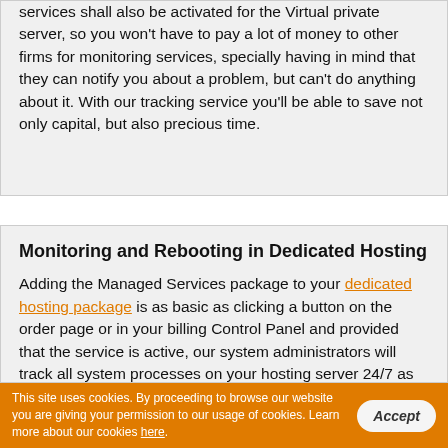services shall also be activated for the Virtual private server, so you won't have to pay a lot of money to other firms for monitoring services, specially having in mind that they can notify you about a problem, but can't do anything about it. With our tracking service you'll be able to save not only capital, but also precious time.
Monitoring and Rebooting in Dedicated Hosting
Adding the Managed Services package to your dedicated hosting package is as basic as clicking a button on the order page or in your billing Control Panel and provided that the service is active, our system administrators will track all system processes on your hosting server 24/7 as
This site uses cookies. By proceeding to browse our website you are giving your permission to our usage of cookies. Learn more about our cookies here.